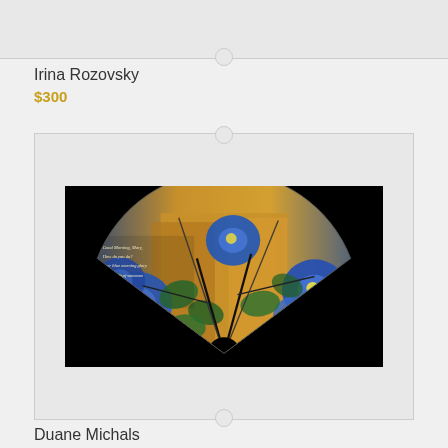Irina Rozovsky
$300
[Figure (photo): Fan-shaped artwork photographed against black background, showing blue morning glory flowers on golden Japanese screen panels, with handwritten text in upper left corner.]
Duane Michals